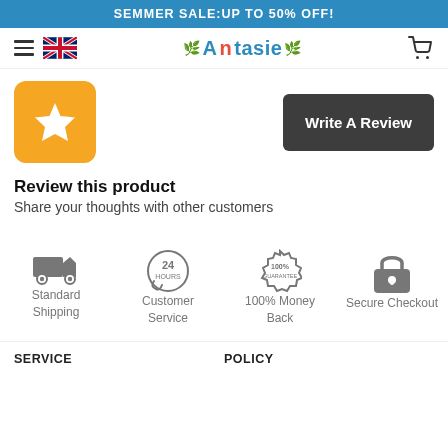SEMMER SALE:UP TO 50% OFF!
[Figure (logo): Antasie brand logo with decorative leaf/floral elements]
[Figure (illustration): Yellow rounded square badge with white star icon]
[Figure (other): Dark gray 'Write A Review' button]
Review this product
Share your thoughts with other customers
[Figure (infographic): Four service icons row: Standard Shipping (truck), Customer Service (24h phone), 100% Money Back (seal), Secure Checkout (lock)]
SERVICE
POLICY